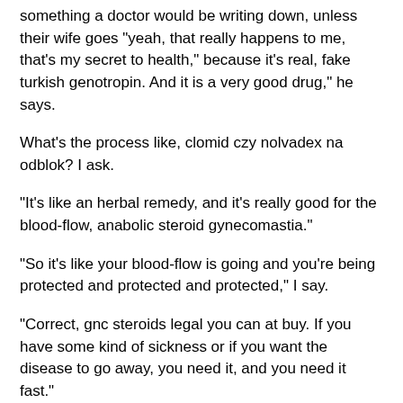something a doctor would be writing down, unless their wife goes "yeah, that really happens to me, that's my secret to health," because it's real, fake turkish genotropin. And it is a very good drug," he says.
What's the process like, clomid czy nolvadex na odblok? I ask.
"It's like an herbal remedy, and it's really good for the blood-flow, anabolic steroid gynecomastia."
"So it's like your blood-flow is going and you're being protected and protected and protected," I say.
"Correct, gnc steroids legal you can at buy. If you have some kind of sickness or if you want the disease to go away, you need it, and you need it fast."